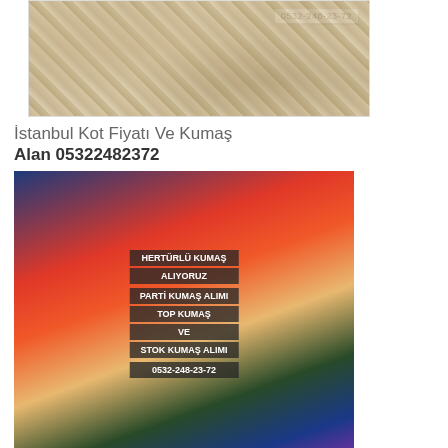[Figure (photo): Floral patterned fabric with phone number 0532-248-23-72 watermark]
İstanbul Kot Fiyatı Ve Kumaş Alan 05322482372
[Figure (photo): Colorful rolled fabrics with text overlay: HERTÜRLÜ KUMAŞ ALIYORUZ, PARTİ KUMAŞ ALIMI TOP KUMAŞ VE STOK KUMAŞ ALIMI, 0532-248-23-72]
İstanbul Gömleklik Kumaş Satın Alanlar 05322482372
[Figure (photo): Yellow and purple patterned fabrics with text overlay: HERTÜRLÜ KUMAŞ ALIYORUZ, PARTİ KUMAŞ ALIMI TOP KUMAŞ VE STOK KUMAŞ ALIMI, 0532-248-23-72]
Kot Kumaş Satışı